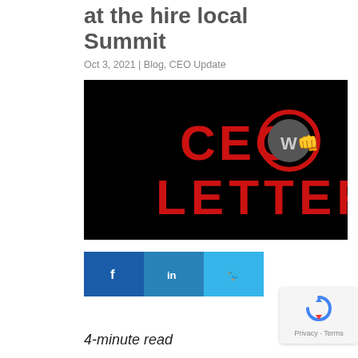at the hire local Summit
Oct 3, 2021 | Blog, CEO Update
[Figure (logo): Black background image with bold red text reading 'CEO LETTER' and a circular logo with a fist icon in the center of the 'O' in CEO]
[Figure (other): Social media sharing buttons: Facebook (dark blue), LinkedIn (medium blue), Twitter (light blue)]
[Figure (other): reCAPTCHA widget showing recycling arrows icon and 'Privacy - Terms' text]
4-minute read